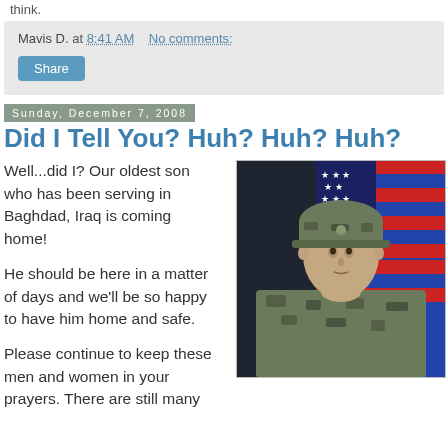think.
Mavis D. at 8:41 AM   No comments:
Share
Sunday, December 7, 2008
Did I Tell You? Huh? Huh? Huh?
Well...did I? Our oldest son who has been serving in Baghdad, Iraq is coming home!
He should be here in a matter of days and we'll be so happy to have him home and safe.
Please continue to keep these men and women in your prayers. There are still many
[Figure (photo): Portrait photo of a young male US Army soldier in camouflage uniform and cap, standing in front of an American flag with a dark blue background]